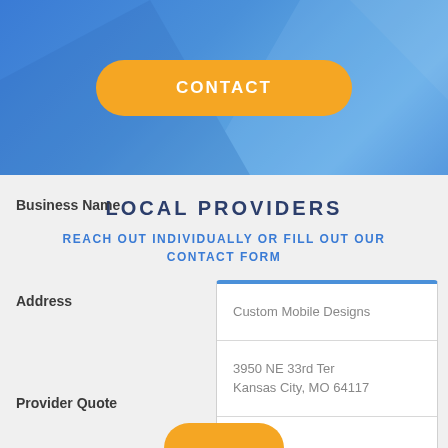CONTACT
LOCAL PROVIDERS
REACH OUT INDIVIDUALLY OR FILL OUT OUR CONTACT FORM
| Field | Value |
| --- | --- |
| Business Name | Custom Mobile Designs |
| Address | 3950 NE 33rd Ter
Kansas City, MO 64117 |
| Provider Quote |  |